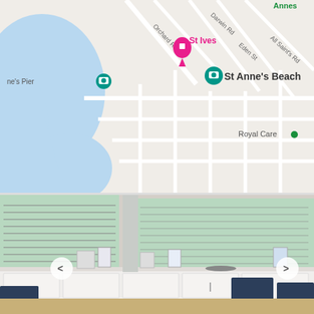[Figure (map): Google Maps screenshot showing St Anne's Beach area with St Ives pin, camera icons, and street names including Darwin Rd, Orchard Rd, Eden St, All Saints Rd. Blue water area visible on left. Royal Care label visible on right.]
[Figure (photo): Interior of an optician shop showing walls lined with eyeglass frames on mint green display boards, white cabinetry with countertop, brochure stands, navigation arrows (< >) and two dark navy upholstered wooden chairs in the foreground. Framed posters on right wall.]